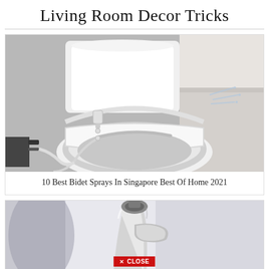Living Room Decor Tricks
[Figure (photo): White bidet toilet seat attachment with water spray hose mounted on a white toilet, photographed in a bathroom]
10 Best Bidet Sprays In Singapore Best Of Home 2021
[Figure (photo): Chrome metallic handheld bidet sprayer/showerhead, close-up photo with blurred background]
✕ CLOSE